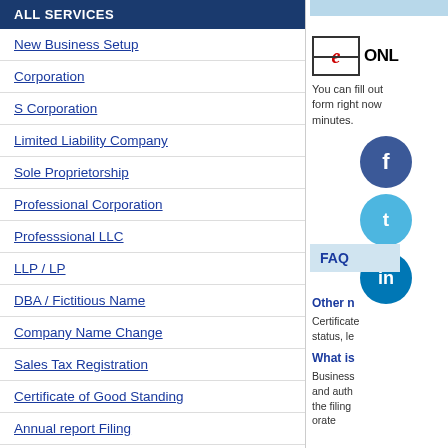ALL SERVICES
New Business Setup
Corporation
S Corporation
Limited Liability Company
Sole Proprietorship
Professional Corporation
Professsional LLC
LLP / LP
DBA / Fictitious Name
Company Name Change
Sales Tax Registration
Certificate of Good Standing
Annual report Filing
Company Dissolution
Retail Cigarette License
Trademark Registration
[Figure (screenshot): Email icon with 'e' logo and ONLINE text]
You can fill out form right now minutes.
[Figure (illustration): Facebook, Twitter, LinkedIn social media icons]
FAQ
Other n
Certificate status, le
What is
Business and auth the filing orate